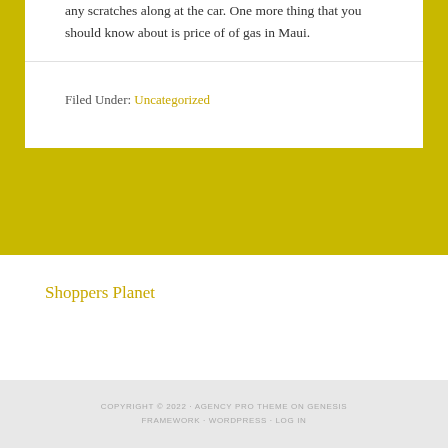any scratches along at the car. One more thing that you should know about is price of of gas in Maui.
Filed Under: Uncategorized
Shoppers Planet
COPYRIGHT © 2022 · AGENCY PRO THEME ON GENESIS FRAMEWORK · WORDPRESS · LOG IN